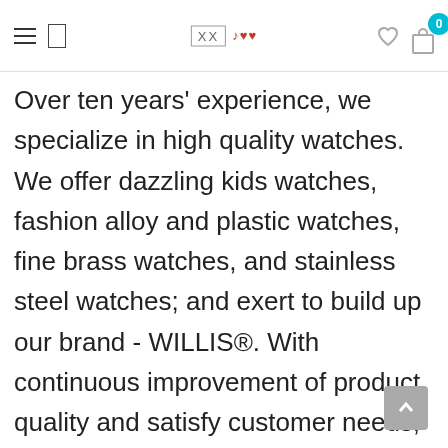XX [logo] [hamburger] [search] [heart] [cart badge 0]
Over ten years' experience, we specialize in high quality watches. We offer dazzling kids watches, fashion alloy and plastic watches, fine brass watches, and stainless steel watches; and exert to build up our brand - WILLIS®. With continuous improvement of product quality and satisfy customer needs, our factory awarded ISO9001:2000 certification since 2006. We always remember our motto, "Today's Quality is Tomorrow's Market". Elegant